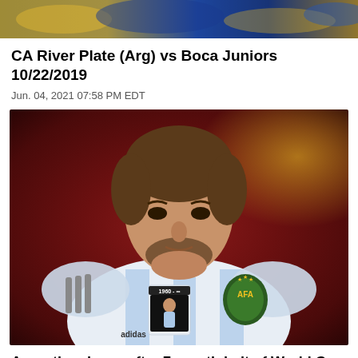[Figure (photo): Top banner photo of football/soccer match, River Plate vs Boca Juniors, showing crowd and players in blue and yellow]
CA River Plate (Arg) vs Boca Juniors 10/22/2019
Jun. 04, 2021 07:58 PM EDT
[Figure (photo): Photo of Lionel Messi in Argentina national team jersey (white and light blue), looking upward, wearing a tribute patch for Maradona (1960 - ∞) on his chest, Adidas jersey with AFA crest]
Argentina draws after 7-month halt of World Cup qualifiers